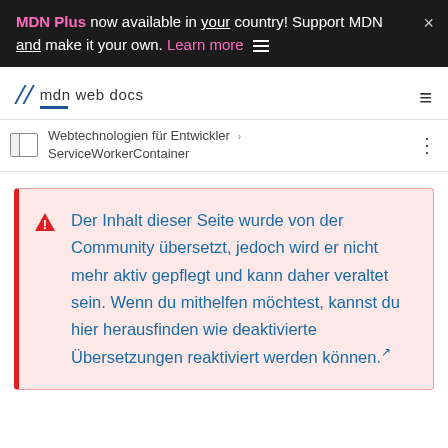MDN Plus now available in your country! Support MDN and make it your own. Learn more
[Figure (logo): MDN Web Docs logo with italicized M and text 'mdn web docs']
Webtechnologien für Entwickler > ServiceWorkerContainer
Der Inhalt dieser Seite wurde von der Community übersetzt, jedoch wird er nicht mehr aktiv gepflegt und kann daher veraltet sein. Wenn du mithelfen möchtest, kannst du hier herausfinden wie deaktivierte Übersetzungen reaktiviert werden können.